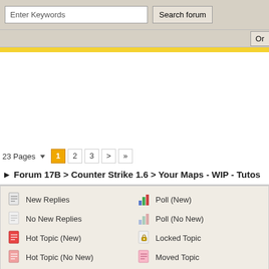Enter Keywords | Search forum
23 Pages  1 2 3 > »
► Forum 17B > Counter Strike 1.6 > Your Maps - WIP - Tutos
New Replies
No New Replies
Hot Topic (New)
Hot Topic (No New)
Poll (New)
Poll (No New)
Locked Topic
Moved Topic
[Figure (logo): RSS feed orange icon in dark brown footer bar]